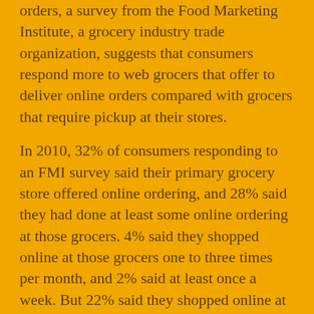orders, a survey from the Food Marketing Institute, a grocery industry trade organization, suggests that consumers respond more to web grocers that offer to deliver online orders compared with grocers that require pickup at their stores.
In 2010, 32% of consumers responding to an FMI survey said their primary grocery store offered online ordering, and 28% said they had done at least some online ordering at those grocers. 4% said they shopped online at those grocers one to three times per month, and 2% said at least once a week. But 22% said they shopped online at those grocers less than once a month, with another 73% saying they never shopped there online.
By comparison, the FMI survey showed that only 17% of respondents said their primary grocery store offered home delivery—but 13% said they ordered home delivery one to three times per month, and 5% said they did so at least once a week, higher frequency of use than the online ordering...